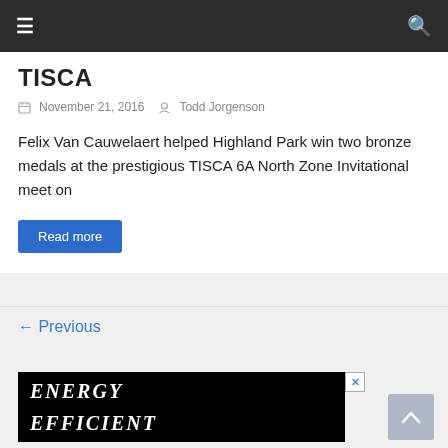≡  [navigation]  Q [search]
TISCA
November 21, 2016   Todd Jorgenson
Felix Van Cauwelaert helped Highland Park win two bronze medals at the prestigious TISCA 6A North Zone Invitational meet on
Read more
← Previous
[Figure (screenshot): Advertisement banner with black background showing white italic text 'ENERGY EFFICIENT' with a close (X) button in the top right corner]